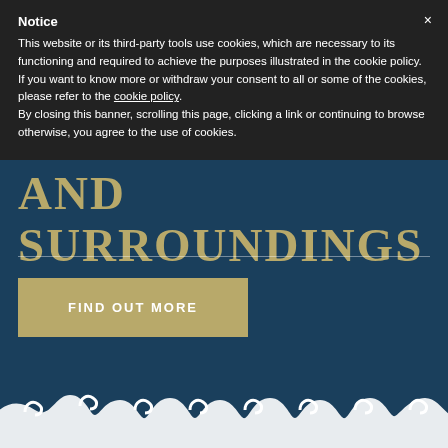Notice
This website or its third-party tools use cookies, which are necessary to its functioning and required to achieve the purposes illustrated in the cookie policy. If you want to know more or withdraw your consent to all or some of the cookies, please refer to the cookie policy. By closing this banner, scrolling this page, clicking a link or continuing to browse otherwise, you agree to the use of cookies.
AND SURROUNDINGS
FIND OUT MORE
[Figure (illustration): Decorative wave pattern at the bottom of the page, white stylized waves on dark teal background]